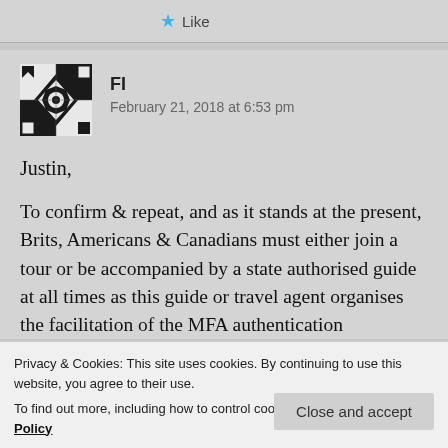[Figure (screenshot): Like button with blue star icon]
[Figure (illustration): User avatar with black and white geometric/mandala pattern]
FI
February 21, 2018 at 6:53 pm
Justin,
To confirm & repeat, and as it stands at the present, Brits, Americans & Canadians must either join a tour or be accompanied by a state authorised guide at all times as this guide or travel agent organises the facilitation of the MFA authentication
Privacy & Cookies: This site uses cookies. By continuing to use this website, you agree to their use.
To find out more, including how to control cookies, see here: Cookie Policy
Close and accept